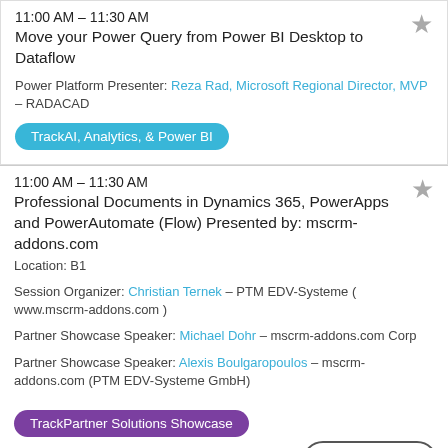11:00 AM – 11:30 AM
Move your Power Query from Power BI Desktop to Dataflow
Power Platform Presenter: Reza Rad, Microsoft Regional Director, MVP – RADACAD
TrackAI, Analytics, & Power BI
11:00 AM – 11:30 AM
Professional Documents in Dynamics 365, PowerApps and PowerAutomate (Flow) Presented by: mscrm-addons.com
Location: B1
Session Organizer: Christian Ternek – PTM EDV-Systeme ( www.mscrm-addons.com )
Partner Showcase Speaker: Michael Dohr – mscrm-addons.com Corp
Partner Showcase Speaker: Alexis Boulgaropoulos – mscrm-addons.com (PTM EDV-Systeme GmbH)
TrackPartner Solutions Showcase
Back to Top